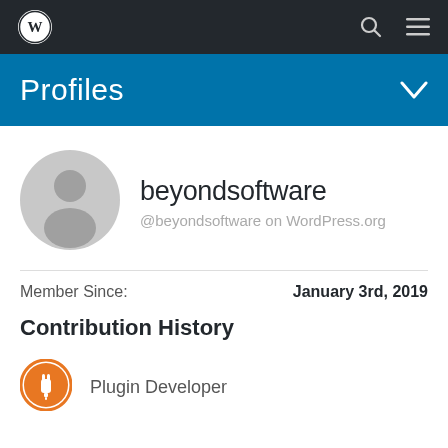WordPress navigation bar with logo, search, and menu icons
Profiles
[Figure (illustration): Generic grey user avatar circle silhouette]
beyondsoftware
@beyondsoftware on WordPress.org
Member Since: January 3rd, 2019
Contribution History
[Figure (logo): Orange circle with plug/power icon representing Plugin Developer badge]
Plugin Developer